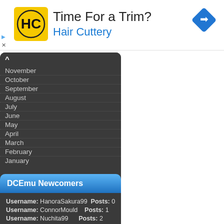[Figure (logo): Hair Cuttery advertisement banner with yellow HC logo, title 'Time For a Trim?' and subtitle 'Hair Cuttery', plus a blue navigation arrow icon]
November
October
September
August
July
June
May
April
March
February
January
DCEmu Newcomers
Username: HanoraSakura99  Posts: 0
Username: ConnorMould     Posts: 1
Username: Nuchita99       Posts: 2
Username: bahman00        Posts: 0
Username: adilsardar      Posts: 1